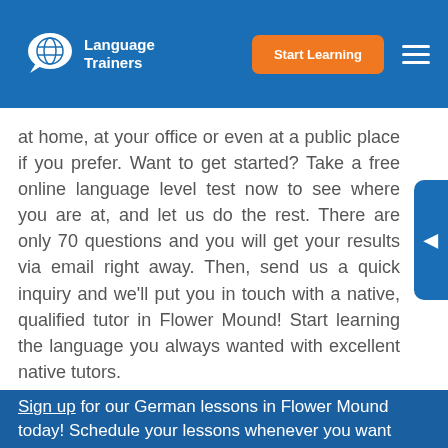Language Trainers — Start Learning
at home, at your office or even at a public place if you prefer. Want to get started? Take a free online language level test now to see where you are at, and let us do the rest. There are only 70 questions and you will get your results via email right away. Then, send us a quick inquiry and we'll put you in touch with a native, qualified tutor in Flower Mound! Start learning the language you always wanted with excellent native tutors.
Sign up for our German lessons in Flower Mound today! Schedule your lessons whenever you want